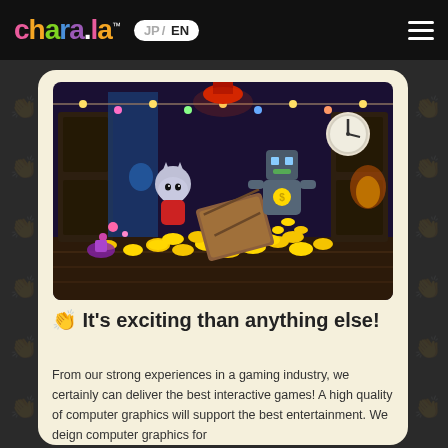chara.la™ JP/ EN
[Figure (screenshot): Video game screenshot showing animated cartoon characters (a cat and a robot) surrounded by gold coins in a dark festive room with string lights, crates, and lanterns]
👏 It's exciting than anything else!
From our strong experiences in a gaming industry, we certainly can deliver the best interactive games! A high quality of computer graphics will support the best entertainment. We deign computer graphics for